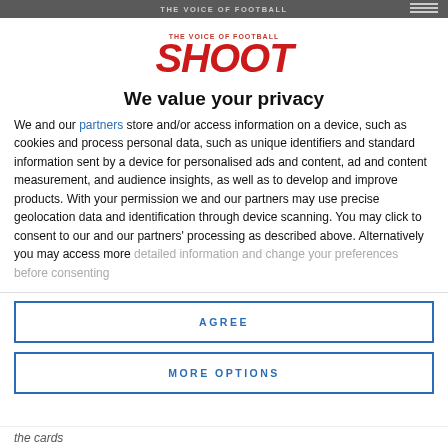THE VOICE OF FOOTBALL
[Figure (logo): SHOOT - THE VOICE OF FOOTBALL logo in red and black]
We value your privacy
We and our partners store and/or access information on a device, such as cookies and process personal data, such as unique identifiers and standard information sent by a device for personalised ads and content, ad and content measurement, and audience insights, as well as to develop and improve products. With your permission we and our partners may use precise geolocation data and identification through device scanning. You may click to consent to our and our partners' processing as described above. Alternatively you may access more detailed information and change your preferences before consenting
AGREE
MORE OPTIONS
the cards